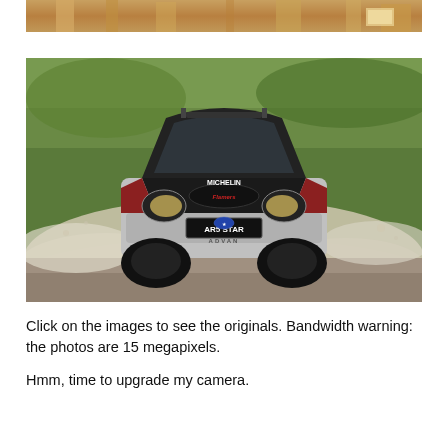[Figure (photo): Top portion of a building interior photo with warm golden/brown tones, showing architectural elements]
[Figure (photo): Rally car (Subaru WRX STI with license plate AR5 STAR and sponsor decals including Michelin, Advan, Rays) kicking up dust on a gravel stage, front-facing action shot]
Click on the images to see the originals. Bandwidth warning: the photos are 15 megapixels.
Hmm, time to upgrade my camera.